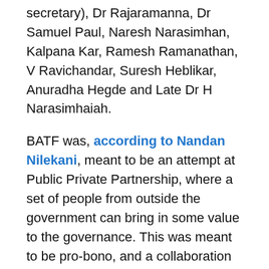secretary), Dr Rajaramanna, Dr Samuel Paul, Naresh Narasimhan, Kalpana Kar, Ramesh Ramanathan, V Ravichandar, Suresh Heblikar, Anuradha Hegde and Late Dr H Narasimhaiah.
BATF was, according to Nandan Nilekani, meant to be an attempt at Public Private Partnership, where a set of people from outside the government can bring in some value to the governance. This was meant to be pro-bono, and a collaboration of citizens, corporates and the administrative agencies.
During the first year, BATF members sat together to agree on an approach and formulate projects and programmes. BATF designed a feedback system, by means of citizen surveys, which pointed to the team on what to act upon next. They also conducted five public gatherings called Bangalore summits.